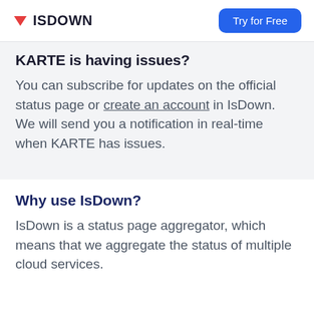ISDOWN | Try for Free
KARTE is having issues?
You can subscribe for updates on the official status page or create an account in IsDown. We will send you a notification in real-time when KARTE has issues.
Why use IsDown?
IsDown is a status page aggregator, which means that we aggregate the status of multiple cloud services.